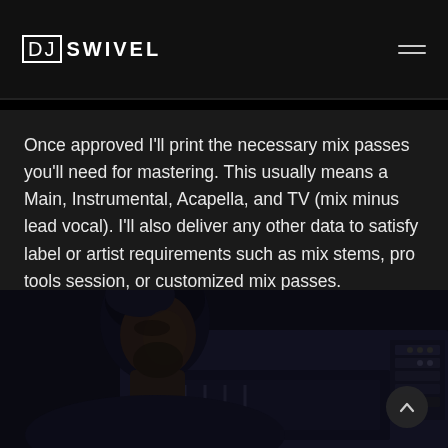DJ SWIVEL
Once approved I'll print the necessary mix passes you'll need for mastering. This usually means a Main, Instrumental, Acapella, and TV (mix minus lead vocal). I'll also deliver any other data to satisfy label or artist requirements such as mix stems, pro tools session, or customized mix passes.
[Figure (photo): Dark photo of a man with dark hair and beard sitting in a recording studio with audio equipment visible in the background]